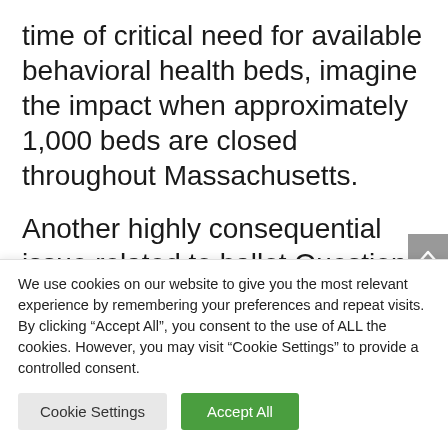time of critical need for available behavioral health beds, imagine the impact when approximately 1,000 beds are closed throughout Massachusetts.
Another highly consequential issue related to ballot Question 1 is the cost. The government mandated ratios are expected to cost Massachusetts hospitals $1.3B in the first year and approximately $900M as an ongoing
We use cookies on our website to give you the most relevant experience by remembering your preferences and repeat visits. By clicking “Accept All”, you consent to the use of ALL the cookies. However, you may visit “Cookie Settings” to provide a controlled consent.